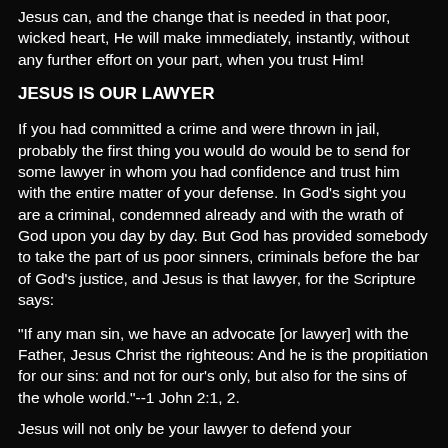Jesus can, and the change that is needed in that poor, wicked heart, He will make immediately, instantly, without any further effort on your part, when you trust Him!
JESUS IS OUR LAWYER
If you had committed a crime and were thrown in jail, probably the first thing you would do would be to send for some lawyer in whom you had confidence and trust him with the entire matter of your defense. In God's sight you are a criminal, condemned already and with the wrath of God upon you day by day. But God has provided somebody to take the part of us poor sinners, criminals before the bar of God's justice, and Jesus is that lawyer, for the Scripture says:
"If any man sin, we have an advocate [or lawyer] with the Father, Jesus Christ the righteous: And he is the propitiation for our sins: and not for our's only, but also for the sins of the whole world."--1 John 2:1, 2.
Jesus will not only be your lawyer to defend your